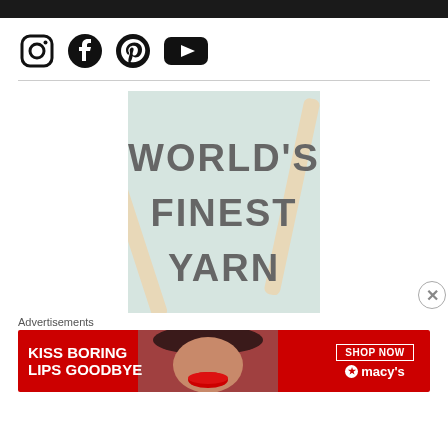[Figure (infographic): Black top navigation bar]
[Figure (infographic): Social media icons row: Instagram, Facebook, Pinterest, YouTube]
[Figure (illustration): World's Finest Yarn advertisement image with knitting needles and text on light teal background]
Advertisements
[Figure (infographic): Macy's advertisement: KISS BORING LIPS GOODBYE with SHOP NOW button and macy's star logo on red background, model photo in center]